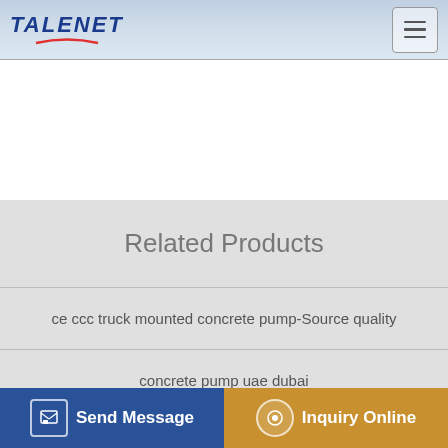TALENET
Related Products
ce ccc truck mounted concrete pump-Source quality
concrete pump uae dubai
aa concrete pumping llc
5 5 cbm small diesel consumption of concrete pump mixer machine